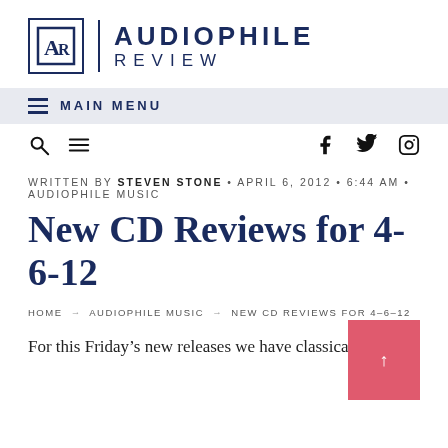[Figure (logo): Audiophile Review logo with AR monogram in a box, vertical divider, and AUDIOPHILE REVIEW text]
≡ MAIN MENU
🔍  ≡    f  🐦  📷
WRITTEN BY STEVEN STONE • APRIL 6, 2012 • 6:44 AM • AUDIOPHILE MUSIC
New CD Reviews for 4-6-12
HOME → AUDIOPHILE MUSIC → NEW CD REVIEWS FOR 4-6-12
For this Friday's new releases we have classical